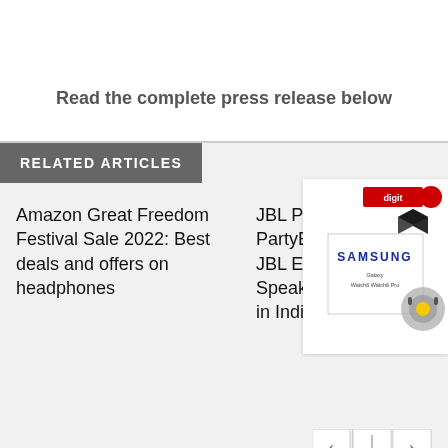Read the complete press release below
RELATED ARTICLES
Amazon Great Freedom Festival Sale 2022: Best deals and offers on headphones
JBL PartyBox 710, PartyBox 110 and JBL Encore Essential Speakers Launched in India
[Figure (photo): Samsung Galaxy Watch6 Watch6 Pro product box with Digit logo overlay, red dot, cube icon, and headphone image]
[Figure (other): Navigation carousel controls with left arrow, separator, and right arrow buttons]